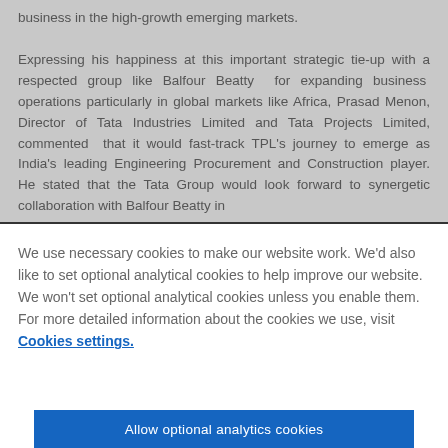business in the high-growth emerging markets. Expressing his happiness at this important strategic tie-up with a respected group like Balfour Beatty  for expanding business  operations particularly in global markets like Africa, Prasad Menon, Director of Tata Industries Limited and Tata Projects Limited, commented  that it would fast-track TPL's journey to emerge as India's leading Engineering Procurement and Construction player. He stated that the Tata Group would look forward to synergetic collaboration with Balfour Beatty in
We use necessary cookies to make our website work. We'd also like to set optional analytical cookies to help improve our website. We won't set optional analytical cookies unless you enable them. For more detailed information about the cookies we use, visit  Cookies settings.
Allow optional analytics cookies